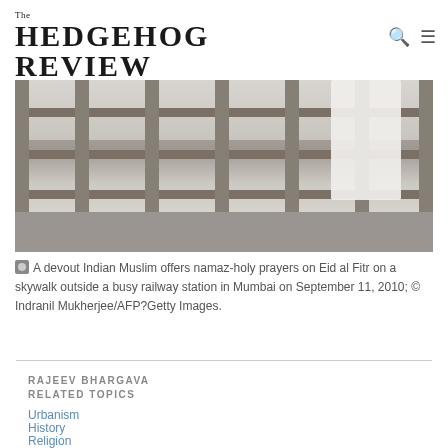The HEDGEHOG REVIEW
Critical Reflections on Contemporary Culture
[Figure (photo): A devout Indian Muslim offers namaz-holy prayers on Eid al Fitr on a skywalk outside a busy railway station in Mumbai. Person seen from waist down in white garments, standing at a railing/fence structure.]
A devout Indian Muslim offers namaz-holy prayers on Eid al Fitr on a skywalk outside a busy railway station in Mumbai on September 11, 2010; © Indranil Mukherjee/AFP?Getty Images.
RAJEEV BHARGAVA
RELATED TOPICS
Urbanism
History
Religion
Relationships